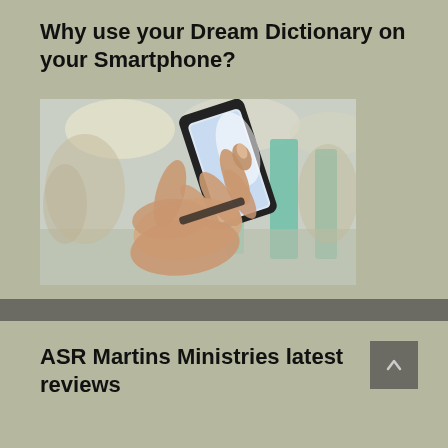Why use your Dream Dictionary on your Smartphone?
[Figure (photo): Person holding a smartphone with both hands, touching the screen with index finger, blurred subway station background with teal/green pillars]
ASR Martins Ministries latest reviews